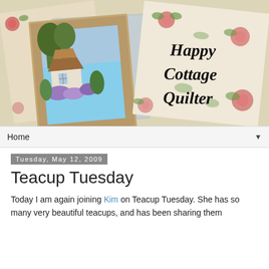[Figure (illustration): Blog header banner showing vintage-style collage of floral patterned papers and a framed painting of a cottage garden, with text 'Happy Cottage Quilter' in calligraphy script on the right card]
Home ▼
Tuesday, May 12, 2009
Teacup Tuesday
Today I am again joining Kim on Teacup Tuesday. She has so many very beautiful teacups, and has been sharing them